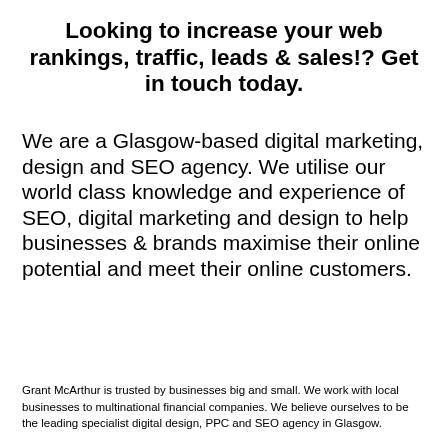Looking to increase your web rankings, traffic, leads & sales!? Get in touch today.
We are a Glasgow-based digital marketing, design and SEO agency. We utilise our world class knowledge and experience of SEO, digital marketing and design to help businesses & brands maximise their online potential and meet their online customers.
Grant McArthur is trusted by businesses big and small. We work with local businesses to multinational financial companies. We believe ourselves to be the leading specialist digital design, PPC and SEO agency in Glasgow.